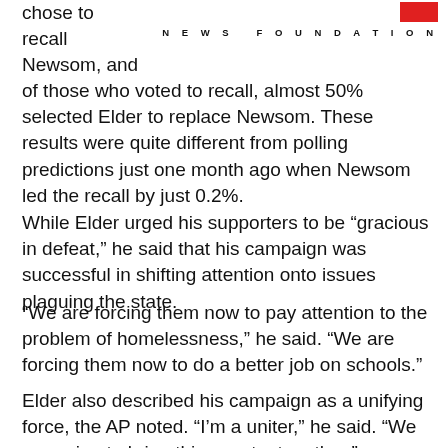NEWS FOUNDATION
chose to recall Newsom, and of those who voted to recall, almost 50% selected Elder to replace Newsom. These results were quite different from polling predictions just one month ago when Newsom led the recall by just 0.2%.
While Elder urged his supporters to be “gracious in defeat,” he said that his campaign was successful in shifting attention onto issues plaguing the state.
“We are forcing them now to pay attention to the problem of homelessness,” he said. “We are forcing them now to do a better job on schools.”
Elder also described his campaign as a unifying force, the AP noted. “I’m a uniter,” he said. “We are going to bring this country together.”